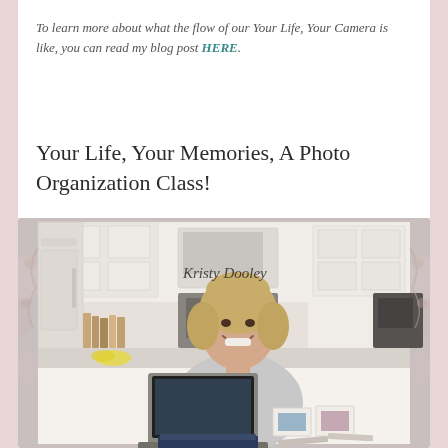To learn more about what the flow of our Your Life, Your Camera is like, you can read my blog post HERE.
Your Life, Your Memories, A Photo Organization Class!
[Figure (photo): A smiling woman with short blonde hair sitting at a white kitchen counter, working on a laptop. She is wearing a light grey sweater. In the background is a white kitchen with cabinets, a microwave, and various appliances. On the counter are photo albums, printed photos, and a small photo display. A cursive text overlay reads 'Kristy Dooley'.]